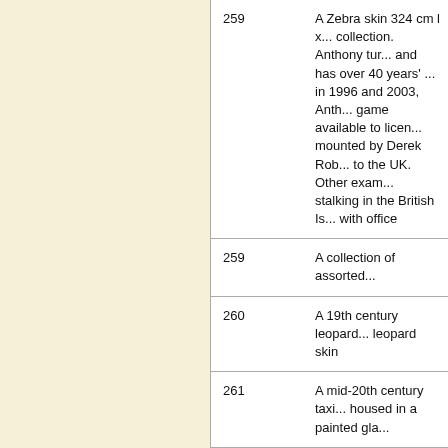| Lot | Description |
| --- | --- |
| 259 | A Zebra skin 324 cm l x... collection.  Anthony tur... and has over 40 years'... in 1996 and 2003, Anth... game available to licen... mounted by Derek Rob... to the UK.  Other exam... stalking in the British Is... with office |
| 259 | A collection of assorted... |
| 260 | A 19th century leopard... leopard skin |
| 261 | A mid-20th century taxi... housed in a painted gla... |
| 262 | LOT 262 IS A NO LOT |
| 268 | A rare Alfred & Son fish... piece ash fly rod with b... |
| 268 | A later/The D... |